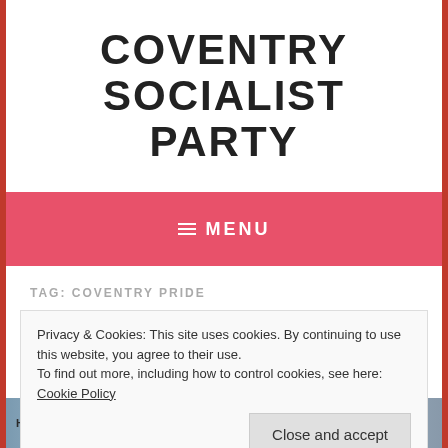COVENTRY SOCIALIST PARTY
≡ MENU
TAG: COVENTRY PRIDE
HUNDREDS MARCH FOR LGBT PRIDE IN COVENTRY
Privacy & Cookies: This site uses cookies. By continuing to use this website, you agree to their use.
To find out more, including how to control cookies, see here: Cookie Policy
[Figure (photo): Bottom photo strip showing protest/march scene with sign reading 'HomoPhobia']